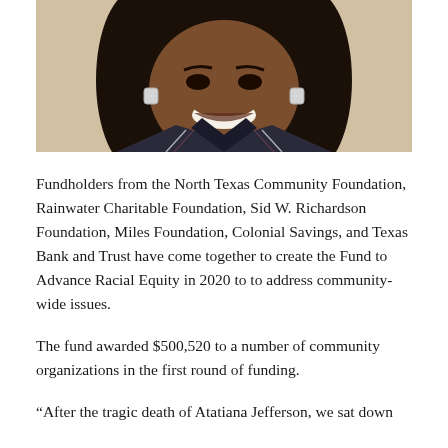[Figure (photo): Portrait photo of a smiling woman with dark hair, wearing square earrings and a dark jacket with stripes. The image is cropped to show her face and upper body.]
Fundholders from the North Texas Community Foundation, Rainwater Charitable Foundation, Sid W. Richardson Foundation, Miles Foundation, Colonial Savings, and Texas Bank and Trust have come together to create the Fund to Advance Racial Equity in 2020 to to address community-wide issues.
The fund awarded $500,520 to a number of community organizations in the first round of funding.
“After the tragic death of Atatiana Jefferson, we sat down